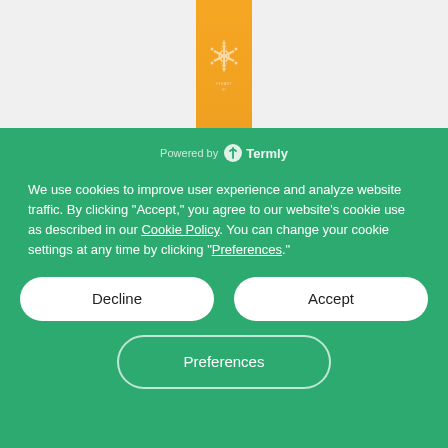[Figure (illustration): Orange vertical bar with decorative snowflake/star icon, on a light gray background, representing a website header or product image partial]
Powered by Termly
We use cookies to improve user experience and analyze website traffic. By clicking “Accept,” you agree to our website’s cookie use as described in our Cookie Policy. You can change your cookie settings at any time by clicking “Preferences.”
Decline
Accept
Preferences